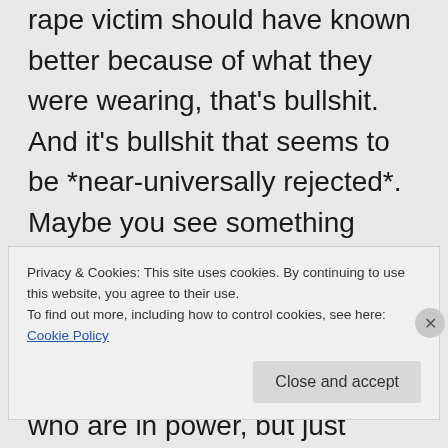rape victim should have known better because of what they were wearing, that's bullshit. And it's bullshit that seems to be *near-universally rejected*. Maybe you see something different, but I see a culture that almost always takes the side of the victim. Or if they don't, those aren't the people who are in power, but just average jerks.
Privacy & Cookies: This site uses cookies. By continuing to use this website, you agree to their use.
To find out more, including how to control cookies, see here: Cookie Policy